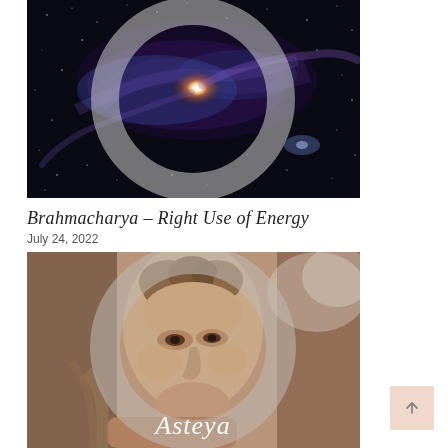[Figure (photo): Circular framed galaxy/space photograph showing spiral galaxy with bright center and star field, set against dark background. Large light gray circle overlay on top of the image.]
Brahmacharya – Right Use of Energy
July 24, 2022
[Figure (photo): Circular framed photograph of a marble statue (resembling Michelangelo's David), close-up of the face. A large light gray circle overlays the image. Cursive text 'Asteya' appears in white at the bottom of the image.]